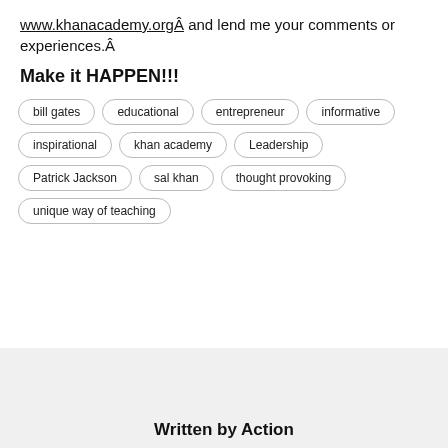www.khanacademy.orgÂ and lend me your comments or experiences.Â
Make it HAPPEN!!!
bill gates
educational
entrepreneur
informative
inspirational
khan academy
Leadership
Patrick Jackson
sal khan
thought provoking
unique way of teaching
Written by Action